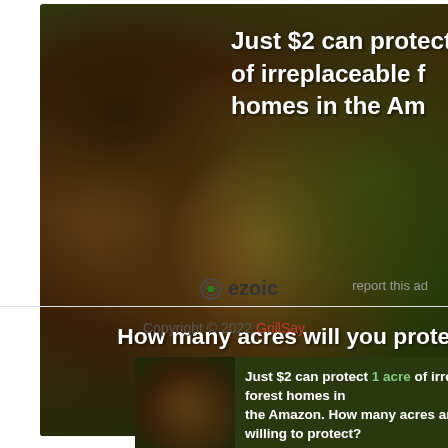[Figure (illustration): Advertisement showing two monkeys (tufted capuchins) on tree branches in the Amazon rainforest. White bold text reads 'Just $2 can protect 1 of irreplaceable f homes in the Am' (partially cut off). Bottom text: 'How many acres will you prote' (cut off). Green button: 'PROTECT FORESTS NOW'.]
ezoic
report this ad
Copyright © 2022 GrillSay
[Figure (illustration): Banner advertisement with monkey image on left, text: 'Just $2 can protect 1 acre of irreplaceable forest homes in the Amazon. How many acres are you willing to protect?' with green 'PROTECT FORESTS NOW' button.]